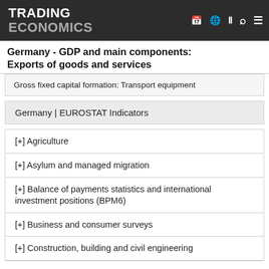TRADING ECONOMICS
Germany - GDP and main components: Exports of goods and services
Gross fixed capital formation: Transport equipment
Germany | EUROSTAT Indicators
[+] Agriculture
[+] Asylum and managed migration
[+] Balance of payments statistics and international investment positions (BPM6)
[+] Business and consumer surveys
[+] Construction, building and civil engineering